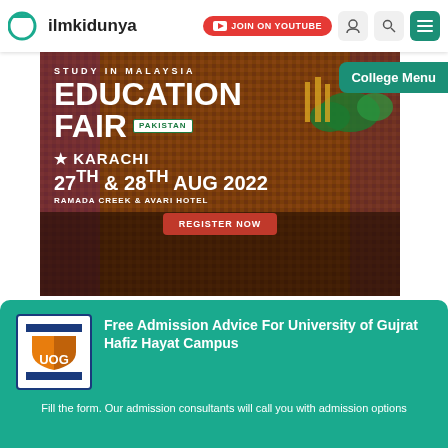ilmkidunya | JOIN ON YOUTUBE | College Menu
[Figure (infographic): Study in Malaysia Education Fair Pakistan – Karachi 27th & 28th Aug 2022, Ramada Creek & Avari Hotel – Register Now banner advertisement]
Free Admission Advice For University of Gujrat Hafiz Hayat Campus
Fill the form. Our admission consultants will call you with admission options